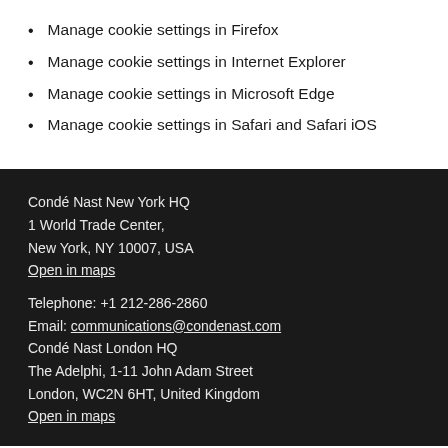Manage cookie settings in Firefox
Manage cookie settings in Internet Explorer
Manage cookie settings in Microsoft Edge
Manage cookie settings in Safari and Safari iOS
Condé Nast New York HQ
1 World Trade Center,
New York, NY 10007, USA
Open in maps
Telephone: +1 212-286-2860
Email: communications@condenast.com
Condé Nast London HQ
The Adelphi, 1-11 John Adam Street
London, WC2N 6HT, United Kingdom
Open in maps